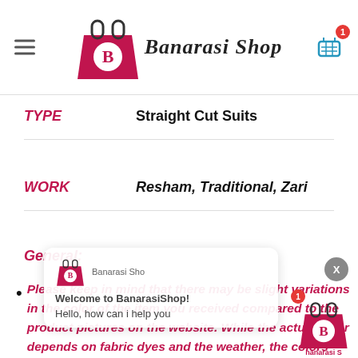[Figure (logo): Banarasi Shop logo with shopping bag icon and text 'Banarasi Shop']
TYPE	Straight Cut Suits
WORK	Resham, Traditional, Zari
General:
Please keep in mind that there may be slight variations in the color of the item you received compared to the product pictures on the website. While the actual color depends on fabric dyes and the weather, the colors seen on the monitor will change according to the light, camera and settings. Hence,
[Figure (screenshot): Chat widget overlay showing Banarasi Shop logo, 'Welcome to BanarasiShop!' and 'Hello, how can i help you' message, with X close button and bottom-right logo badge]